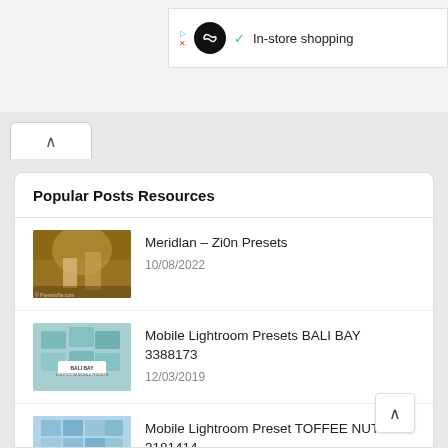[Figure (screenshot): Ad banner with infinity logo and 'In-store shopping' text with checkmark]
[Figure (screenshot): Tab/navigation chevron up button area]
Popular Posts Resources
[Figure (photo): Thumbnail image of couple in golden field for Meridlan Zi0n Presets post]
Meridlan – Zi0n Presets
10/08/2022
[Figure (photo): Thumbnail image for BALI BAY Lightroom presets]
Mobile Lightroom Presets BALI BAY 3388173
12/03/2019
[Figure (photo): Thumbnail image for TOFFEE NUT Lightroom presets]
Mobile Lightroom Preset TOFFEE NUT 3181414
13/03/2019